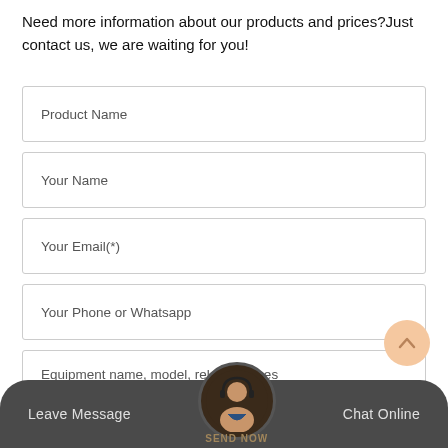Need more information about our products and prices?Just contact us, we are waiting for you!
Product Name
Your Name
Your Email(*)
Your Phone or Whatsapp
Equipment name, model, related issues
[Figure (illustration): Circular scroll-to-top button with upward chevron arrow, peach/orange color]
[Figure (illustration): Dark footer bar with rounded top corners containing Leave Message button, center avatar circle with customer service representative wearing headset, SEND NOW text, and Chat Online button]
Leave Message
SEND NOW
Chat Online